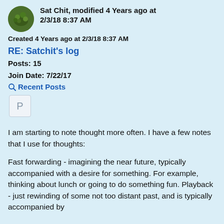Sat Chit, modified 4 Years ago at 2/3/18 8:37 AM
Created 4 Years ago at 2/3/18 8:37 AM
RE: Satchit's log
Posts: 15
Join Date: 7/22/17
Recent Posts
[Figure (other): Letter P badge/icon in a light gray rounded rectangle]
I am starting to note thought more often. I have a few notes that I use for thoughts:
Fast forwarding - imagining the near future, typically accompanied with a desire for something. For example, thinking about lunch or going to do something fun. Playback - just rewinding of some not too distant past, and is typically accompanied by